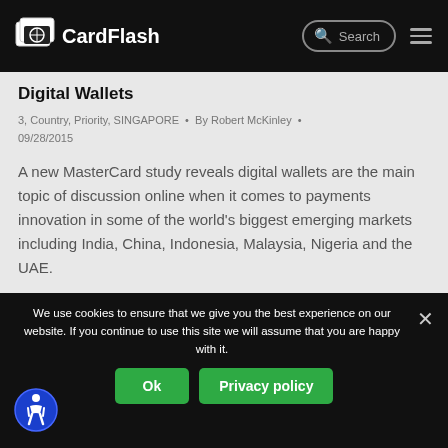CardFlash
Digital Wallets
3, Country, Priority, SINGAPORE • By Robert McKinley • 09/28/2015
A new MasterCard study reveals digital wallets are the main topic of discussion online when it comes to payments innovation in some of the world's biggest emerging markets including India, China, Indonesia, Malaysia, Nigeria and the UAE.
We use cookies to ensure that we give you the best experience on our website. If you continue to use this site we will assume that you are happy with it.